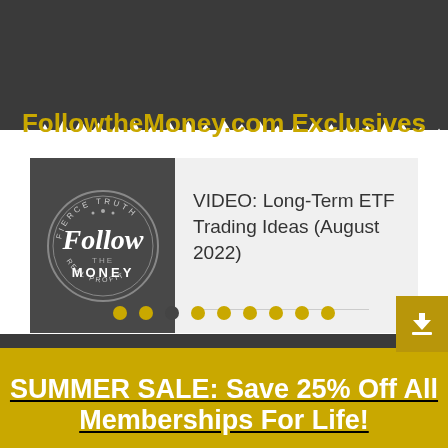FollowtheMoney.com Exclusives
[Figure (screenshot): Card with Follow the Money logo on left (dark circular badge) and text 'VIDEO: Long-Term ETF Trading Ideas (August 2022)' on right gray background]
• • • • • • • • •
SUMMER SALE: Save 25% Off All Memberships For Life!